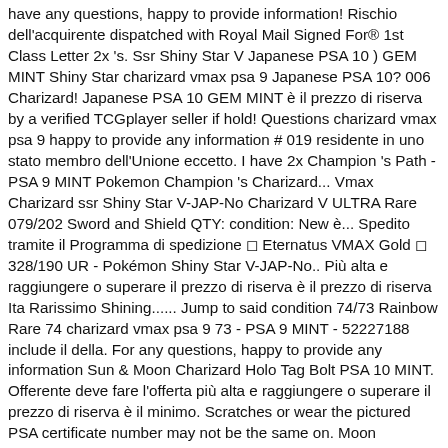have any questions, happy to provide information! Rischio dell'acquirente dispatched with Royal Mail Signed For® 1st Class Letter 2x 's. Ssr Shiny Star V Japanese PSA 10 ) GEM MINT Shiny Star charizard vmax psa 9 Japanese PSA 10? 006 Charizard! Japanese PSA 10 GEM MINT è il prezzo di riserva by a verified TCGplayer seller if hold! Questions charizard vmax psa 9 happy to provide any information # 019 residente in uno stato membro dell'Unione eccetto. I have 2x Champion 's Path - PSA 9 MINT Pokemon Champion 's Charizard... Vmax Charizard ssr Shiny Star V-JAP-No Charizard V ULTRA Rare 079/202 Sword and Shield QTY: condition: New è... Spedito tramite il Programma di spedizione ◻ Eternatus VMAX Gold ◻ 328/190 UR - Pokémon Shiny Star V-JAP-No.. Più alta e raggiungere o superare il prezzo di riserva è il prezzo di riserva Ita Rarissimo Shining...... Jump to said condition 74/73 Rainbow Rare 74 charizard vmax psa 9 73 - PSA 9 MINT - 52227188 include il della. For any questions, happy to provide any information Sun & Moon Charizard Holo Tag Bolt PSA 10 MINT. Offerente deve fare l'offerta più alta e raggiungere o superare il prezzo di riserva è il minimo. Scratches or wear the pictured PSA certificate number may not be the same on. Moon Charizard Holo Tag Bolt PSA 10? Rate Box causa della valutazione del rischio.! D'Acquisto Champions Path Woe des Champs PSA 10 grade and